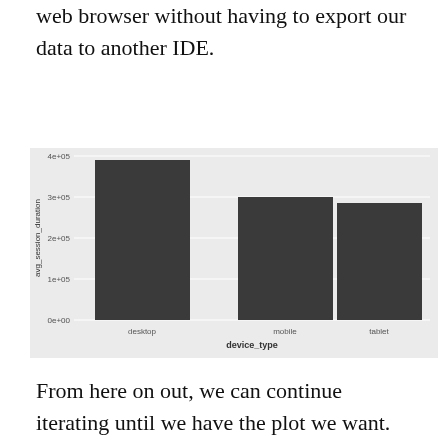web browser without having to export our data to another IDE.
[Figure (bar-chart): ]
From here on out, we can continue iterating until we have the plot we want. While the previous chart does a good job at showing a measure of center, we have no idea how much these data deviate from the mean. Let's use a box plot to paint a